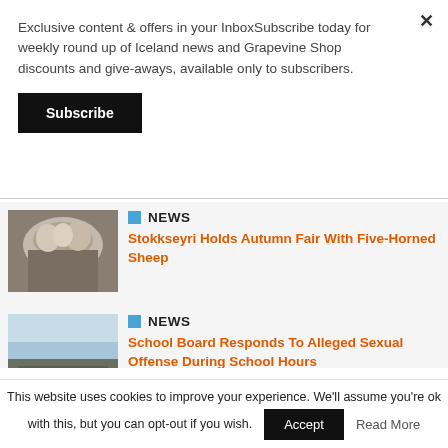Exclusive content & offers in your InboxSubscribe today for weekly round up of Iceland news and Grapevine Shop discounts and give-aways, available only to subscribers.
Subscribe
NEWS
Stokkseyri Holds Autumn Fair With Five-Horned Sheep
[Figure (photo): Close-up photo of woolly sheep]
NEWS
School Board Responds To Alleged Sexual Offense During School Hours
[Figure (photo): Photo of a school building exterior]
NEWS
[Figure (photo): Partial photo, partially visible]
This website uses cookies to improve your experience. We'll assume you're ok with this, but you can opt-out if you wish.
Accept
Read More